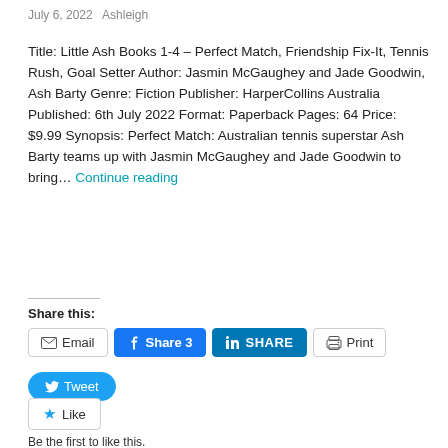July 6, 2022   Ashleigh
Title: Little Ash Books 1-4 – Perfect Match, Friendship Fix-It, Tennis Rush, Goal Setter Author: Jasmin McGaughey and Jade Goodwin, Ash Barty Genre: Fiction Publisher: HarperCollins Australia Published: 6th July 2022 Format: Paperback Pages: 64 Price: $9.99 Synopsis: Perfect Match: Australian tennis superstar Ash Barty teams up with Jasmin McGaughey and Jade Goodwin to bring… Continue reading
Share this:
Email  Share 3  SHARE  Print  Tweet
Like  Be the first to like this.